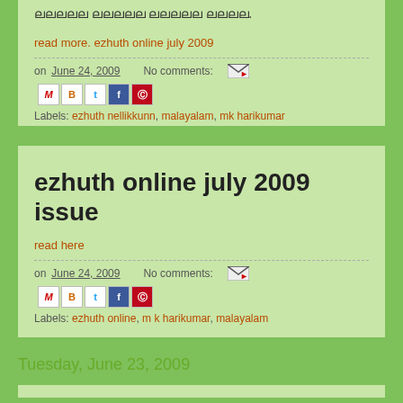(Malayalam text - truncated at top)
read more. ezhuth online july 2009
on June 24, 2009   No comments:
Labels: ezhuth nellikkunn, malayalam, mk harikumar
ezhuth online july 2009 issue
read here
on June 24, 2009   No comments:
Labels: ezhuth online, m k harikumar, malayalam
Tuesday, June 23, 2009